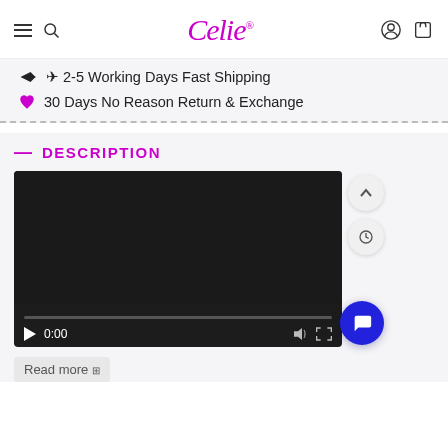Celie® — navigation header with hamburger menu, search, user and cart icons
✈ 2-5 Working Days Fast Shipping
♥ 30 Days No Reason Return & Exchange
— DESCRIPTION
[Figure (screenshot): Embedded video player showing a dark/black frame with playback controls: play button, 0:00 timer, volume and fullscreen icons, and a progress bar at the bottom.]